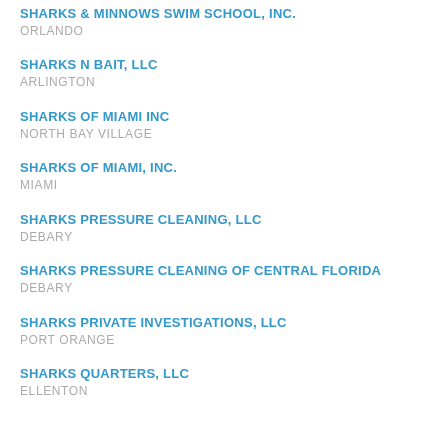SHARKS & MINNOWS SWIM SCHOOL, INC.
ORLANDO
SHARKS N BAIT, LLC
ARLINGTON
SHARKS OF MIAMI INC
NORTH BAY VILLAGE
SHARKS OF MIAMI, INC.
MIAMI
SHARKS PRESSURE CLEANING, LLC
DEBARY
SHARKS PRESSURE CLEANING OF CENTRAL FLORIDA
DEBARY
SHARKS PRIVATE INVESTIGATIONS, LLC
PORT ORANGE
SHARKS QUARTERS, LLC
ELLENTON